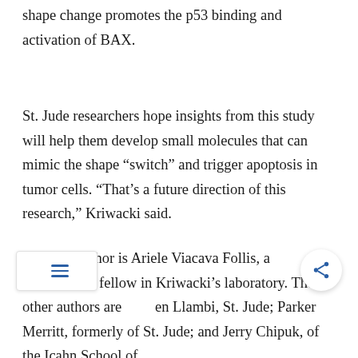shape change promotes the p53 binding and activation of BAX.
St. Jude researchers hope insights from this study will help them develop small molecules that can mimic the shape “switch” and trigger apoptosis in tumor cells. “That’s a future direction of this research,” Kriwacki said.
The first author is Ariele Viacava Follis, a postdoctoral fellow in Kriwacki’s laboratory. The other authors are en Llambi, St. Jude; Parker Merritt, formerly of St. Jude; and Jerry Chipuk, of the Icahn School of